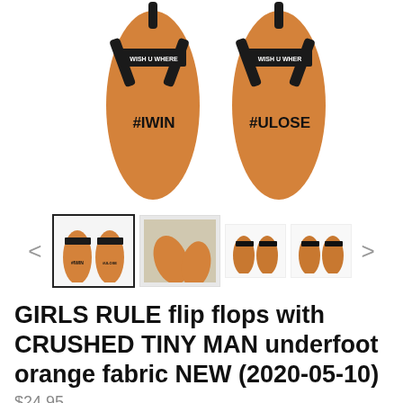[Figure (photo): Two orange flip flops from above showing #IWIN and #ULOSE text on footbeds with 'WISH U WHERE' printed on straps, black toe posts]
[Figure (photo): Thumbnail gallery of flip flop product images: 4 thumbnails showing different angles, with navigation arrows on sides]
GIRLS RULE flip flops with CRUSHED TINY MAN underfoot orange fabric NEW (2020-05-10)
$24.95